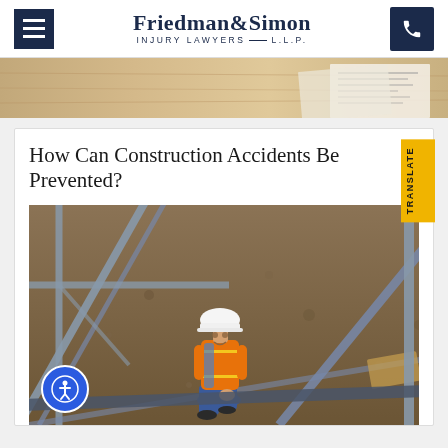Friedman & Simon Injury Lawyers L.L.P.
[Figure (photo): Partial view of documents on a wooden desk, hero banner strip]
How Can Construction Accidents Be Prevented?
[Figure (photo): Construction worker in orange safety vest and white hard hat sitting on ground near scaffolding, appearing injured and holding knee]